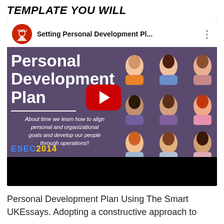TEMPLATE YOU WILL
[Figure (screenshot): YouTube video thumbnail screenshot showing a video titled 'Setting Personal Development Pl...' with a purple background displaying 'Personal Development Plan' text, a play button, cartoon avatars of diverse people, italic subtitle text 'About time we learn how to align personal and organizational goals and develop our people through operations!!', and ESEC branding at the bottom left.]
Personal Development Plan Using The Smart UKEssays. Adopting a constructive approach to